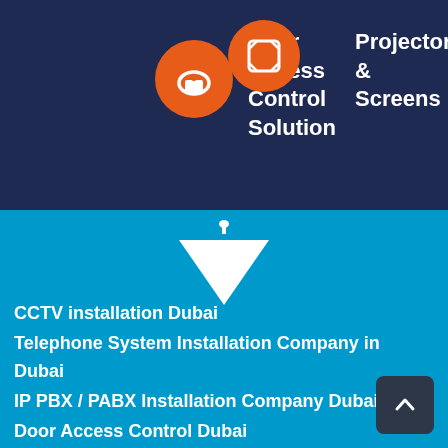[Figure (infographic): Dark navy blue top section with two overlapping orange circular icons — one with a door/arch symbol, one with a screen/expand icon — and white text reading 'Door Access Control Solution' and 'Projector & Screens']
Door Access Control Solution
Projector & Screens
[Figure (infographic): Cyan/blue bottom section with a white downward-pointing triangle arrow and a small logo above it]
CCTV installation Dubai
Telephone System Installation Company in Dubai
IP PBX / PABX Installation Company Dubai
Door Access Control Dubai
CCTV Support Dubai
Hikvision CCTV camera Dubai
CCTV installation Dubai